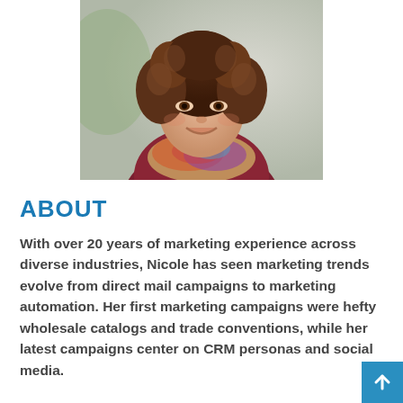[Figure (photo): Portrait photo of a woman with curly hair wearing a dark red/maroon top and a colorful patterned scarf, smiling, with a blurred outdoor background.]
ABOUT
With over 20 years of marketing experience across diverse industries, Nicole has seen marketing trends evolve from direct mail campaigns to marketing automation. Her first marketing campaigns were hefty wholesale catalogs and trade conventions, while her latest campaigns center on CRM personas and social media.